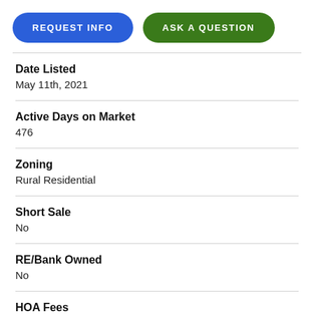[Figure (other): Two pill-shaped buttons: REQUEST INFO (blue) and ASK A QUESTION (green)]
Date Listed
May 11th, 2021
Active Days on Market
476
Zoning
Rural Residential
Short Sale
No
RE/Bank Owned
No
HOA Fees